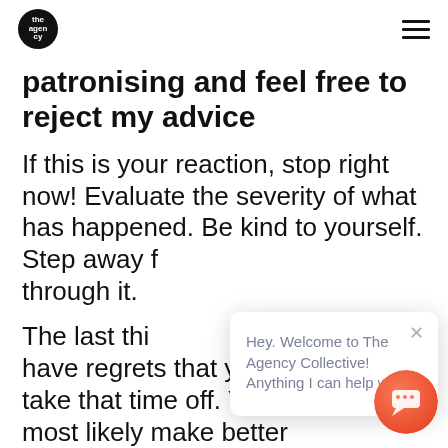The Agency Collective logo and navigation
patronising and feel free to reject my advice
If this is your reaction, stop right now! Evaluate the severity of what has happened. Be kind to yourself. Step away f through it.
The last thi have regrets that you didn't take that time off. You will most likely make better
[Figure (screenshot): Chat popup overlay with message: Hey. Welcome to The Agency Collective! Anything I can help with?]